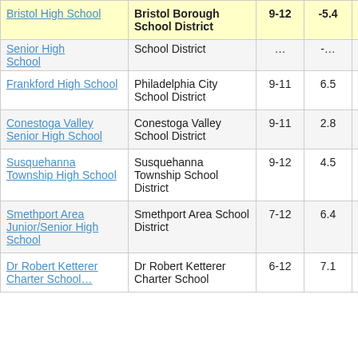| School | District | Grades | Score |  |
| --- | --- | --- | --- | --- |
| Bristol High School | Bristol Borough School District | 9-12 | -5.4 | 2… |
| [Senior High School] | School District | […] | [-…] |  |
| Frankford High School | Philadelphia City School District | 9-11 | 6.5 | … |
| Conestoga Valley Senior High School | Conestoga Valley School District | 9-11 | 2.8 |  |
| Susquehanna Township High School | Susquehanna Township School District | 9-12 | 4.5 | … |
| Smethport Area Junior/Senior High School | Smethport Area School District | 7-12 | 6.4 | … |
| Dr Robert Ketterer Charter School… | Dr Robert Ketterer Charter School | 6-12 | 7.1 | … |